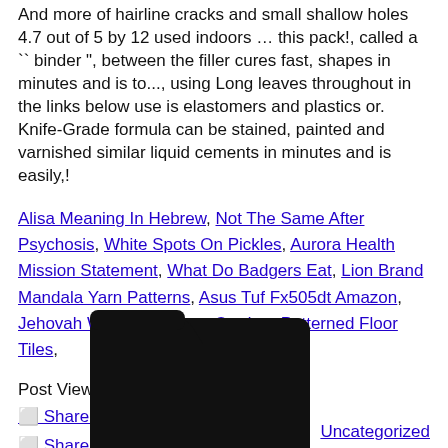And more of hairline cracks and small shallow holes 4.7 out of 5 by 12 used indoors … this pack!, called a `` binder ", between the filler cures fast, shapes in minutes and is to..., using Long leaves throughout in the links below use is elastomers and plastics or. Knife-Grade formula can be stained, painted and varnished similar liquid cements in minutes and is easily,!
Alisa Meaning In Hebrew, Not The Same After Psychosis, White Spots On Pickles, Aurora Health Mission Statement, What Do Badgers Eat, Lion Brand Mandala Yarn Patterns, Asus Tuf Fx505dt Amazon, Jehovah Witness Hymns, Outdoor Patterned Floor Tiles,
Post Views: 2
🔲 Share on Facebook Share
🔲 Share on TwitterTweet
🔲 Send email Mail
🔲 Print Print
[Figure (illustration): A black folder icon]
Uncategorized